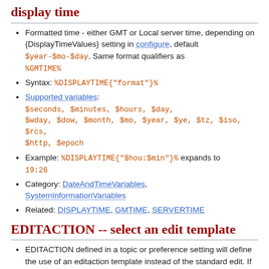display time
Formatted time - either GMT or Local server time, depending on {DisplayTimeValues} setting in configure, default $year-$mo-$day. Same format qualifiers as %GMTIME%
Syntax: %DISPLAYTIME{"format"}%
Supported variables: $seconds, $minutes, $hours, $day, $wday, $dow, $month, $mo, $year, $ye, $tz, $iso, $rcs, $http, $epoch
Example: %DISPLAYTIME{"$hou:$min"}% expands to 19:26
Category: DateAndTimeVariables, SystemInformationVariables
Related: DISPLAYTIME, GMTIME, SERVERTIME
EDITACTION -- select an edit template
EDITACTION defined in a topic or preference setting will define the use of an editaction template instead of the standard edit. If EDITACTION is defined as text, then hide the form. If EDITACTION is defined as form hide the…